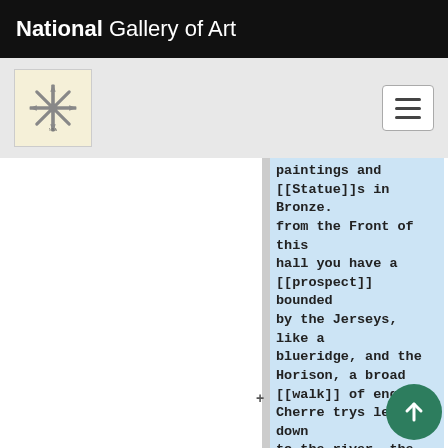National Gallery of Art
[Figure (logo): National Gallery of Art snowflake/compass rose logo thumbnail]
paintings and [[Statue]]s in Bronze. from the Front of this hall you have a [[prospect]] bounded by the Jerseys, like a blueridge, and the Horison, a broad [[walk]] of english Cherre trys leads down to the river, the doors of the hous opening opposite admitt a [[prospect]] [of] the length of the garden thro' a broad gravel [[walk]], to a large hansome